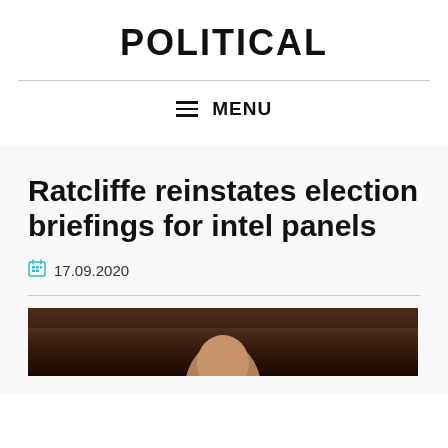POLITICAL
MENU
Ratcliffe reinstates election briefings for intel panels
17.09.2020
[Figure (photo): Partial photo of a person, appears to be cropped at the bottom of the page showing the top of someone's head]